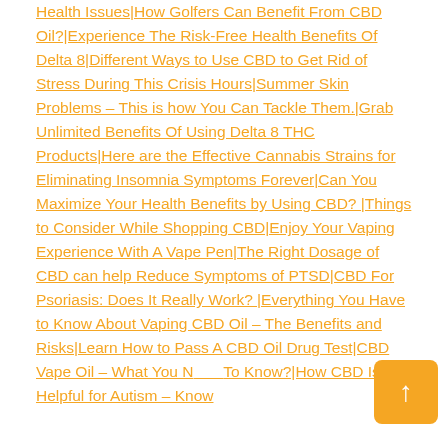Health Issues|How Golfers Can Benefit From CBD Oil?|Experience The Risk-Free Health Benefits Of Delta 8|Different Ways to Use CBD to Get Rid of Stress During This Crisis Hours|Summer Skin Problems – This is how You Can Tackle Them.|Grab Unlimited Benefits Of Using Delta 8 THC Products|Here are the Effective Cannabis Strains for Eliminating Insomnia Symptoms Forever|Can You Maximize Your Health Benefits by Using CBD?|Things to Consider While Shopping CBD|Enjoy Your Vaping Experience With A Vape Pen|The Right Dosage of CBD can help Reduce Symptoms of PTSD|CBD For Psoriasis: Does It Really Work?|Everything You Have to Know About Vaping CBD Oil – The Benefits and Risks|Learn How to Pass A CBD Oil Drug Test|CBD Vape Oil – What You Need To Know?|How CBD Is Helpful for Autism – Know
[Figure (other): Orange scroll-to-top button with upward arrow in bottom right corner]